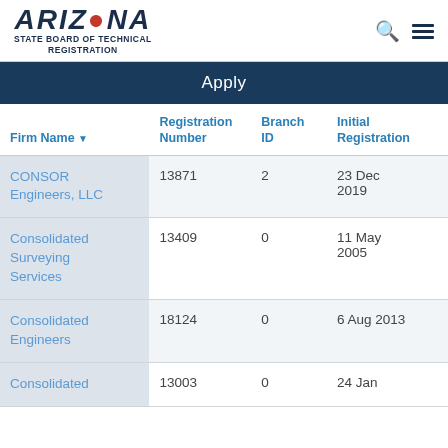ARIZONA STATE BOARD OF TECHNICAL REGISTRATION
Apply
| Firm Name | Registration Number | Branch ID | Initial Registration |
| --- | --- | --- | --- |
| CONSOR Engineers, LLC | 13871 | 2 | 23 Dec 2019 |
| Consolidated Surveying Services | 13409 | 0 | 11 May 2005 |
| Consolidated Engineers | 18124 | 0 | 6 Aug 2013 |
| Consolidated | 13003 | 0 | 24 Jan |